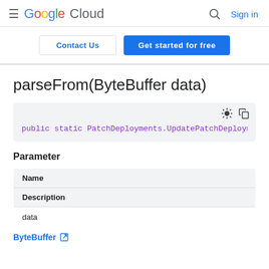Google Cloud | Sign in
Contact Us | Get started for free
parseFrom(ByteBuffer data)
public static PatchDeployments.UpdatePatchDeploym
Parameter
| Name | Description |
| --- | --- |
| data | ByteBuffer |